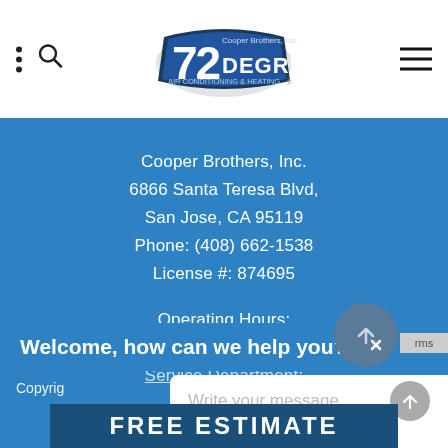72 Degrees Cooper Brothers, Inc. Air Conditioning & Heating
Cooper Brothers, Inc.
6866 Santa Teresa Blvd,
San Jose, CA 95119
Phone: (408) 662-1538
License #: 874695
Operating Hours:
Monday-Friday, 7:30am - 4:30pm
Service Department:
Welcome, how can we help you?
Write your message...
Copyright